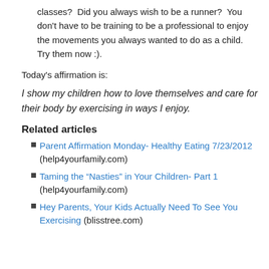classes?  Did you always wish to be a runner?  You don't have to be training to be a professional to enjoy the movements you always wanted to do as a child.  Try them now :).
Today's affirmation is:
I show my children how to love themselves and care for their body by exercising in ways I enjoy.
Related articles
Parent Affirmation Monday- Healthy Eating 7/23/2012 (help4yourfamily.com)
Taming the “Nasties” in Your Children- Part 1 (help4yourfamily.com)
Hey Parents, Your Kids Actually Need To See You Exercising (blisstree.com)